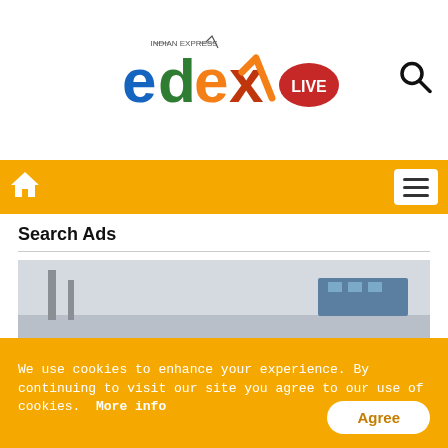[Figure (logo): edexLIVE logo from Indian Express, colorful letters e-d-e-x with LIVE badge]
[Figure (other): Search icon (magnifying glass) in top right of header]
[Figure (other): Orange navigation bar with home icon on left and hamburger menu on right]
Search Ads
[Figure (photo): Photo of a used car lot showing multiple luxury cars including a black Bentley in foreground, white Mercedes in center, and other vehicles parked in an outdoor lot]
Used Cars In United States Might
We use cookies to enhance your experience. By continuing to visit our site you agree to our use of cookies.  More info